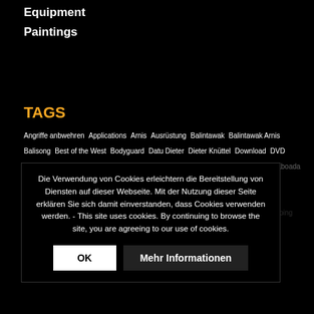Equipment
Paintings
TAGS
Angriffe anbwehren  Applications  Arnis  Ausrüstung  Balintawak  Balintawak Arnis  Balisong  Best of the West  Bodyguard  Datu Dieter  Dieter Knüttel  Download  DVD  Eskrima  Examination Program  fingerlocks  Fred Shadian  Grandmaster Bobby Taboada  Inayan Eskrima Download  Kampfkunst  Karate  Knife  Kunst  Largo  lockhow  Locking techniques  Locks  Messer  Nunchaku  Pekiti  Remy Presas  Sayoc  Selbstverteidigung  Serrada  Sinawali  SV  Tonfa  Training  Trainingsmesser  Trapping  Verteidigung
Die Verwendung von Cookies erleichtern die Bereitstellung von Diensten auf dieser Webseite. Mit der Nutzung dieser Seite erklären Sie sich damit einverstanden, dass Cookies verwenden werden. - This site uses cookies. By continuing to browse the site, you are agreeing to our use of cookies.
OK    Mehr Informationen